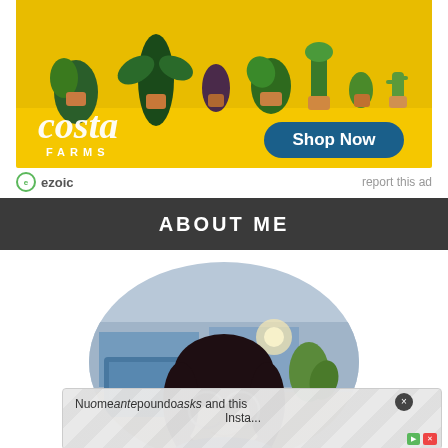[Figure (illustration): Costa Farms advertisement banner with potted plants on yellow background, Costa Farms logo and Shop Now button]
ezoic   report this ad
ABOUT ME
[Figure (illustration): Circular cropped profile photo showing a cartoon/illustrated style person with glasses and dark hair, indoors background]
[Figure (illustration): Partially visible overlay ad with geometric pattern background and close button, showing partial text about Instagram]